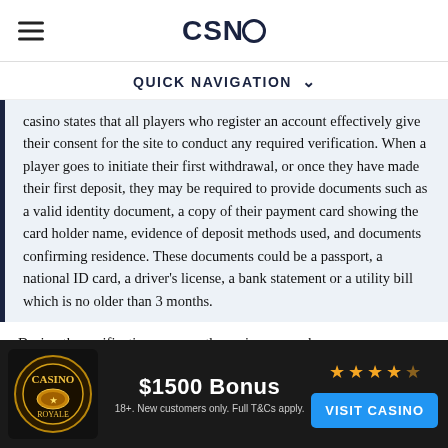CSNO
QUICK NAVIGATION
casino states that all players who register an account effectively give their consent for the site to conduct any required verification. When a player goes to initiate their first withdrawal, or once they have made their first deposit, they may be required to provide documents such as a valid identity document, a copy of their payment card showing the card holder name, evidence of deposit methods used, and documents confirming residence. These documents could be a passport, a national ID card, a driver's license, a bank statement or a utility bill which is no older than 3 months.
During the verification process, the casino may ask
$1500 Bonus
18+. New customers only. Full T&Cs apply.
VISIT CASINO